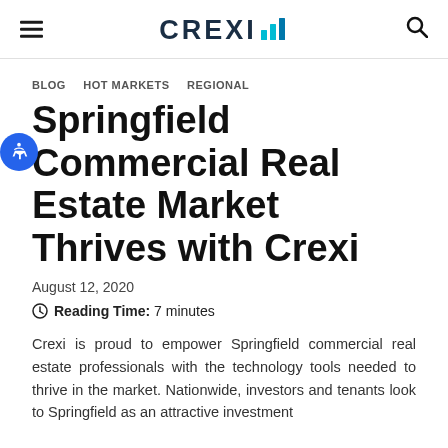CREXI [logo]
BLOG  HOT MARKETS  REGIONAL
Springfield Commercial Real Estate Market Thrives with Crexi
August 12, 2020
Reading Time: 7 minutes
Crexi is proud to empower Springfield commercial real estate professionals with the technology tools needed to thrive in the market. Nationwide, investors and tenants look to Springfield as an attractive investment